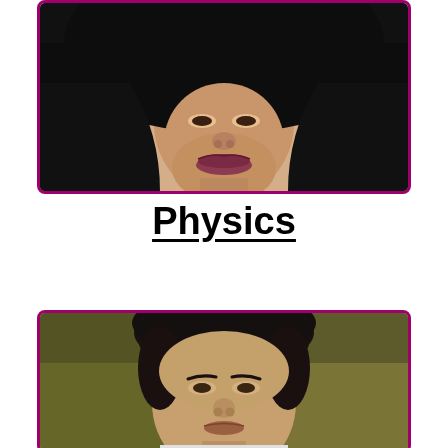[Figure (photo): Portrait photo of a woman wearing a black hijab, framed with a magenta/purple border, cropped to show face and upper body]
Physics
[Figure (photo): Portrait photo of a young man with dark hair against a blurred olive/brown background, framed with a magenta/purple border, cropped to show face]